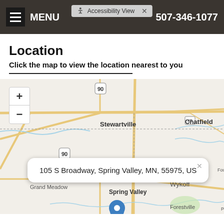MENU | Accessibility View | 507-346-1077
Location
Click the map to view the location nearest to you
[Figure (map): Map showing Spring Valley, MN area with cities Stewartville, Chatfield, Grand Meadow, Wykoff, Forestville visible. A blue location pin marks Spring Valley. A popup shows the address: 105 S Broadway, Spring Valley, MN, 55975, US. Map has zoom + and - controls.]